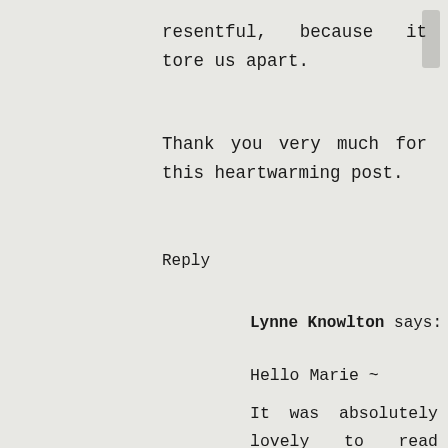resentful, because it tore us apart.
Thank you very much for this heartwarming post.
Reply
Lynne Knowlton says:
Hello Marie ~
It was absolutely lovely to read your comment. Because you got it. You